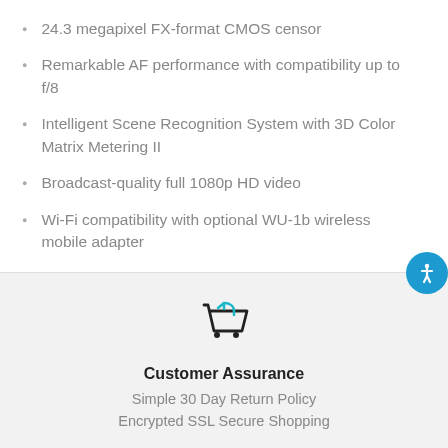24.3 megapixel FX-format CMOS censor
Remarkable AF performance with compatibility up to f/8
Intelligent Scene Recognition System with 3D Color Matrix Metering II
Broadcast-quality full 1080p HD video
Wi-Fi compatibility with optional WU-1b wireless mobile adapter
[Figure (illustration): Shopping cart icon with a return arrow in teal/cyan color]
Customer Assurance
Simple 30 Day Return Policy
Encrypted SSL Secure Shopping